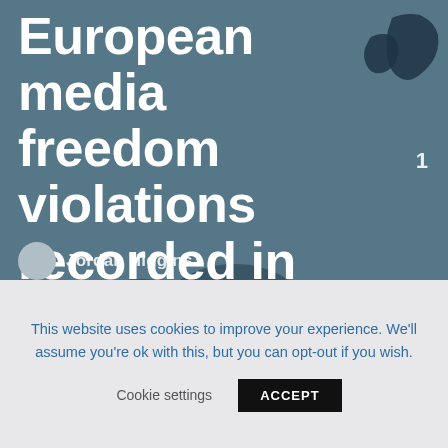[Figure (map): Stylized dark teal/blue map of Europe used as background hero image with country silhouettes visible including UK/Ireland region top right with number 1 badge]
European media freedom violations recorded in first half of 2021
Jordan Higgins
This website uses cookies to improve your experience. We'll assume you're ok with this, but you can opt-out if you wish.
Cookie settings    ACCEPT